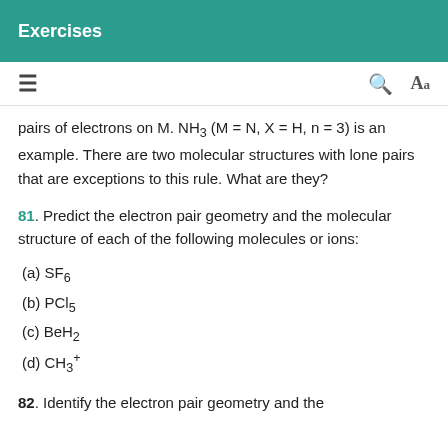Exercises
pairs of electrons on M. NH3 (M = N, X = H, n = 3) is an example. There are two molecular structures with lone pairs that are exceptions to this rule. What are they?
81. Predict the electron pair geometry and the molecular structure of each of the following molecules or ions:
(a) SF6
(b) PCl5
(c) BeH2
(d) CH3+
82. Identify the electron pair geometry and the molecular structure of each of the following